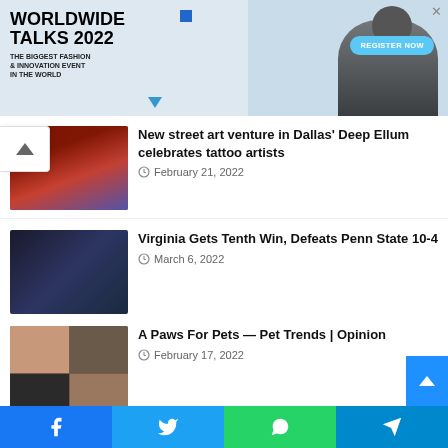[Figure (screenshot): Advertisement banner for Worldwide Talks 2022 - The Biggest Fashion & Innovation Event In The World with Register Now button]
New street art venture in Dallas' Deep Ellum celebrates tattoo artists
February 21, 2022
Virginia Gets Tenth Win, Defeats Penn State 10-4
March 6, 2022
A Paws For Pets — Pet Trends | Opinion
February 17, 2022
Adoptable Pet of the Week: Dodger
[Figure (screenshot): Social media sharing bar with Facebook, Twitter, WhatsApp, and Telegram buttons]